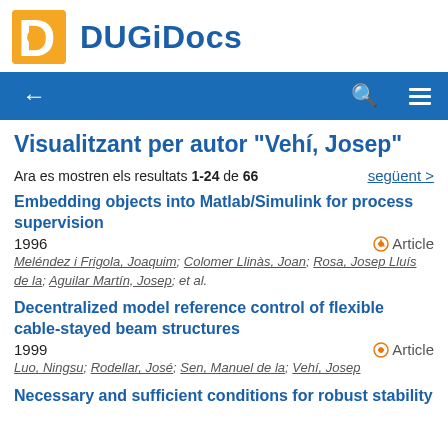DUGiDocs
Visualitzant per autor "Vehí, Josep"
Ara es mostren els resultats 1-24 de 66   següent >
Embedding objects into Matlab/Simulink for process supervision
1996  Article
Meléndez i Frigola, Joaquim; Colomer Llinàs, Joan; Rosa, Josep Lluís de la; Aguilar Martín, Josep; et al.
Decentralized model reference control of flexible cable-stayed beam structures
1999  Article
Luo, Ningsu; Rodellar, José; Sen, Manuel de la; Vehí, Josep
Necessary and sufficient conditions for robust stability